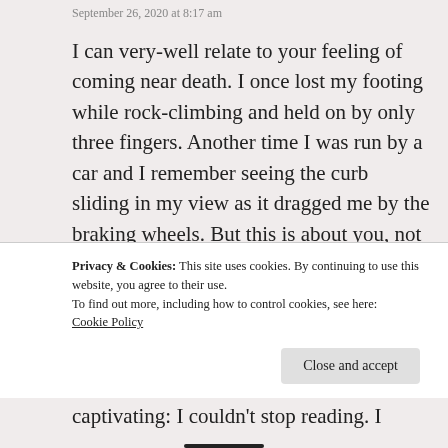September 26, 2020 at 8:17 am
I can very-well relate to your feeling of coming near death. I once lost my footing while rock-climbing and held on by only three fingers. Another time I was run by a car and I remember seeing the curb sliding in my view as it dragged me by the braking wheels. But this is about you, not me. I believe these things happen as a wakeup call: to prod us to do something extraordinary: like your blog, say. Keep the good work. Your account is language-rich, melodious-sounding, and captivating: I couldn't stop reading. I
Privacy & Cookies: This site uses cookies. By continuing to use this website, you agree to their use.
To find out more, including how to control cookies, see here:
Cookie Policy
Close and accept